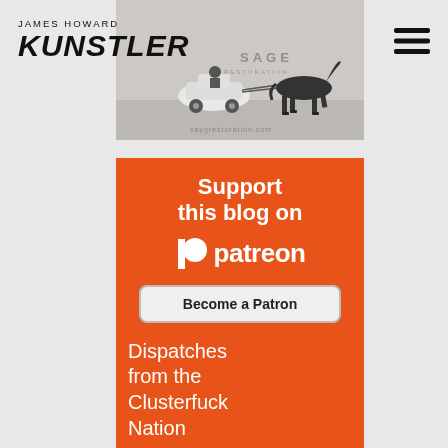JAMES HOWARD KUNSTLER
[Figure (illustration): Website header with illustration of a car being pulled by a horse (black and white vintage image), with text overlay including 'SAGE' and 'saygrestoration.com']
[Figure (logo): Hamburger menu icon (three horizontal lines)]
[Figure (infographic): Patreon advertisement banner: orange background with white text 'Support this blog on patreon' with Patreon logo, a 'Become a Patron' button, and text 'Dispatches from the Clusterfuck Nation']